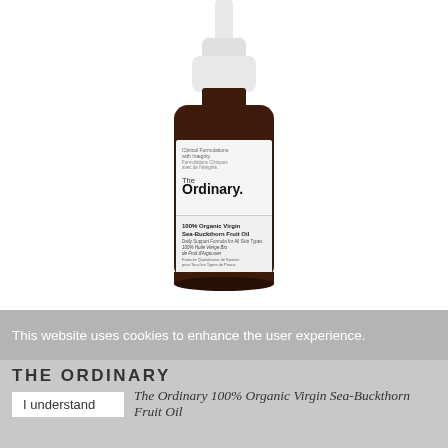[Figure (photo): The Ordinary 100% Organic Virgin Sea-Buckthorn Fruit Oil product bottle with dropper top, amber glass bottle with white label showing brand name and product details]
This website uses cookies to enhance the user experience.
THE ORDINARY
The Ordinary 100% Organic Virgin Sea-Buckthorn Fruit Oil
I understand